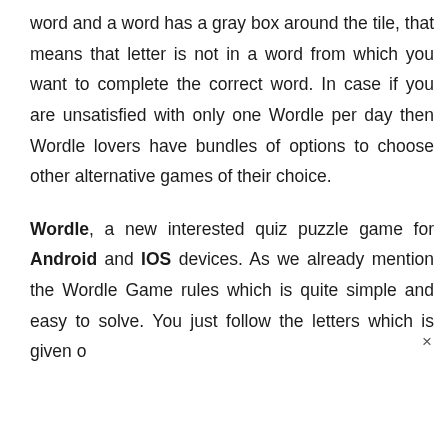word and a word has a gray box around the tile, that means that letter is not in a word from which you want to complete the correct word. In case if you are unsatisfied with only one Wordle per day then Wordle lovers have bundles of options to choose other alternative games of their choice.
Wordle, a new interested quiz puzzle game for Android and IOS devices. As we already mention the Wordle Game rules which is quite simple and easy to solve. You just follow the letters which is given o